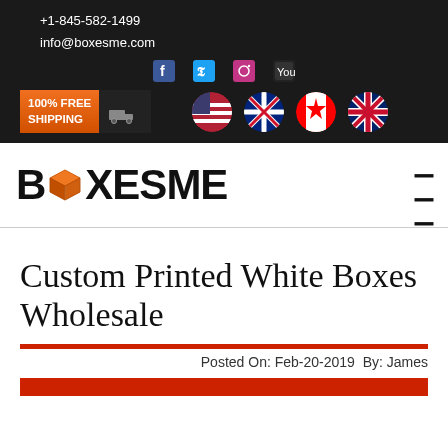+1-845-582-1499
info@boxesme.com
[Figure (logo): BOXESME logo with orange 3D box icon replacing the letter O, on white background with hamburger menu icon]
Custom Printed White Boxes Wholesale
Posted On: Feb-20-2019  By: James